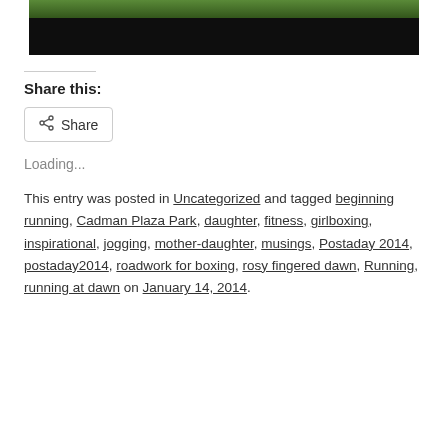[Figure (photo): Dark photograph showing grass/green landscape at top, mostly dark/black lower portion — cropped partial view]
Share this:
Share
Loading...
This entry was posted in Uncategorized and tagged beginning running, Cadman Plaza Park, daughter, fitness, girlboxing, inspirational, jogging, mother-daughter, musings, Postaday 2014, postaday2014, roadwork for boxing, rosy fingered dawn, Running, running at dawn on January 14, 2014.